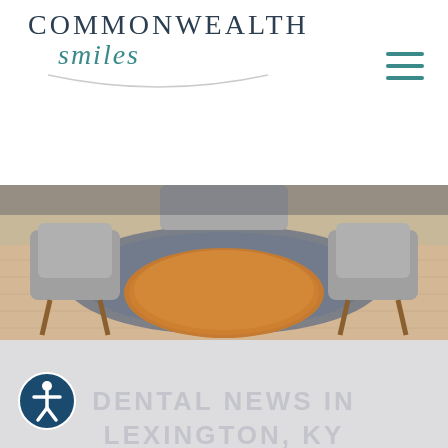[Figure (logo): Commonwealth Smiles dental practice logo with arc underline]
[Figure (photo): Interior dental office waiting room with round wooden table and gray chairs on patterned rug, viewed from above]
DENTAL NEWS IN LEXINGTON, KY
[Figure (illustration): Accessibility icon button - circular dark blue button with person/wheelchair accessibility symbol]